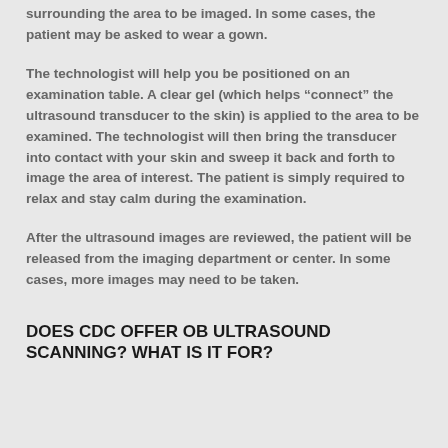surrounding the area to be imaged. In some cases, the patient may be asked to wear a gown.
The technologist will help you be positioned on an examination table. A clear gel (which helps “connect” the ultrasound transducer to the skin) is applied to the area to be examined. The technologist will then bring the transducer into contact with your skin and sweep it back and forth to image the area of interest. The patient is simply required to relax and stay calm during the examination.
After the ultrasound images are reviewed, the patient will be released from the imaging department or center. In some cases, more images may need to be taken.
DOES CDC OFFER OB ULTRASOUND SCANNING? WHAT IS IT FOR?